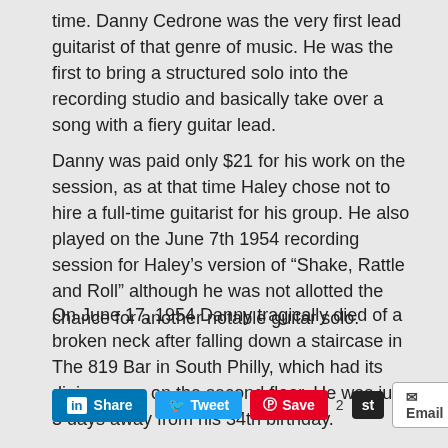time. Danny Cedrone was the very first lead guitarist of that genre of music. He was the first to bring a structured solo into the recording studio and basically take over a song with a fiery guitar lead.
Danny was paid only $21 for his work on the session, as at that time Haley chose not to hire a full-time guitarist for his group. He also played on the June 7th 1954 recording session for Haley's version of “Shake, Rattle and Roll” although he was not allotted the chance for another notable guitar solo.
On June 17, 1954 Danny tragically died of a broken neck after falling down a staircase in The 819 Bar in South Philly, which had its dining room on the second floor. He was just 3 days away from his 34th birthday.
[Figure (other): Social sharing buttons: LinkedIn Share, Twitter Tweet, Pinterest Save, count '2', Stumbleupon 'st' button, Email button]